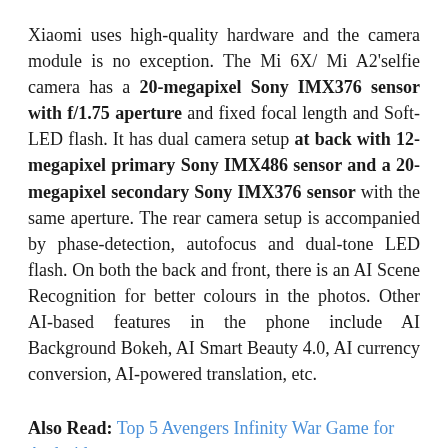Xiaomi uses high-quality hardware and the camera module is no exception. The Mi 6X/ Mi A2'selfie camera has a 20-megapixel Sony IMX376 sensor with f/1.75 aperture and fixed focal length and Soft-LED flash. It has dual camera setup at back with 12-megapixel primary Sony IMX486 sensor and a 20-megapixel secondary Sony IMX376 sensor with the same aperture. The rear camera setup is accompanied by phase-detection, autofocus and dual-tone LED flash. On both the back and front, there is an AI Scene Recognition for better colours in the photos. Other AI-based features in the phone include AI Background Bokeh, AI Smart Beauty 4.0, AI currency conversion, AI-powered translation, etc.
Also Read: Top 5 Avengers Infinity War Game for Android